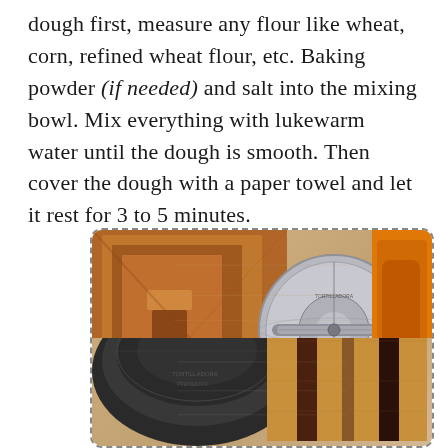dough first, measure any flour like wheat, corn, refined wheat flour, etc. Baking powder (if needed) and salt into the mixing bowl. Mix everything with lukewarm water until the dough is smooth. Then cover the dough with a paper towel and let it rest for 3 to 5 minutes.
[Figure (photo): Top-down view of tortilla-making tools on a wooden surface. Top half shows a wooden block/press on the left, a silver aluminum tortilla press in the center, and an orange plastic press on the right. Bottom half shows a dark cast-iron or black tortilla press on the lower left and a wooden trivet with alternating wood strips on the lower right.]